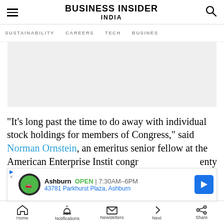BUSINESS INSIDER INDIA
SUSTAINABILITY   CAREERS   TECH   BUSINESS
[Figure (other): Gray advertisement placeholder block]
"It's long past the time to do away with individual stock holdings for members of Congress," said Norman Ornstein, an emeritus senior fellow at the American Enterprise Instit... congr... enty
[Figure (other): Overlay ad: Ashburn OPEN 7:30AM-6PM, 43781 Parkhurst Plaza, Ashburn]
Home   Notifications   Newsletters   Next   Share